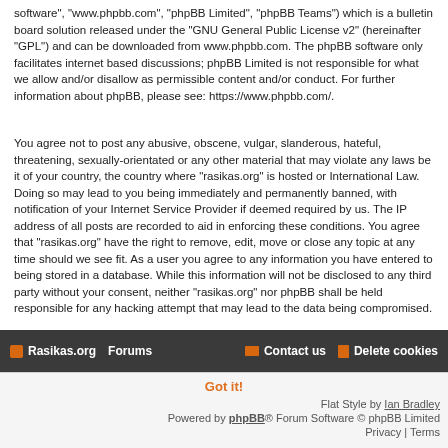software", "www.phpbb.com", "phpBB Limited", "phpBB Teams") which is a bulletin board solution released under the "GNU General Public License v2" (hereinafter "GPL") and can be downloaded from www.phpbb.com. The phpBB software only facilitates internet based discussions; phpBB Limited is not responsible for what we allow and/or disallow as permissible content and/or conduct. For further information about phpBB, please see: https://www.phpbb.com/.
You agree not to post any abusive, obscene, vulgar, slanderous, hateful, threatening, sexually-orientated or any other material that may violate any laws be it of your country, the country where "rasikas.org" is hosted or International Law. Doing so may lead to you being immediately and permanently banned, with notification of your Internet Service Provider if deemed required by us. The IP address of all posts are recorded to aid in enforcing these conditions. You agree that "rasikas.org" have the right to remove, edit, move or close any topic at any time should we see fit. As a user you agree to any information you have entered to being stored in a database. While this information will not be disclosed to any third party without your consent, neither "rasikas.org" nor phpBB shall be held responsible for any hacking attempt that may lead to the data being compromised.
Rasikas.org  Forums  Contact us  Delete cookies
Flat Style by Ian Bradley
Powered by phpBB® Forum Software © phpBB Limited
Privacy | Terms